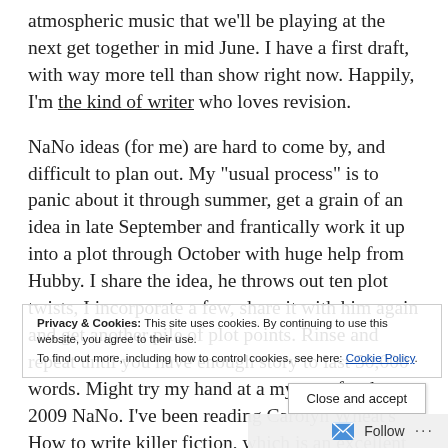atmospheric music that we'll be playing at the next get together in mid June. I have a first draft, with way more tell than show right now. Happily, I'm the kind of writer who loves revision.
NaNo ideas (for me) are hard to come by, and difficult to plan out. My "usual process" is to panic about it through summer, get a grain of an idea in late September and frantically work it up into a plot through October with huge help from Hubby. I share the idea, he throws out ten plot twists, I incorporate a few, share it with him again and get another pile of plot points. Rinse and repeat until you have enough story to last 50,000 words. Might try my hand at a mystery for the 2009 NaNo. I've been reading Carolyn Wheat's How to write killer fiction, which is an excellent book with a lot
Privacy & Cookies: This site uses cookies. By continuing to use this website, you agree to their use. To find out more, including how to control cookies, see here: Cookie Policy.
Close and accept
Follow ···